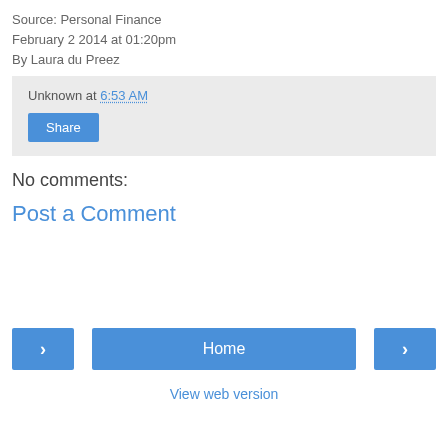Source: Personal Finance
February 2 2014 at 01:20pm
By Laura du Preez
Unknown at 6:53 AM
Share
No comments:
Post a Comment
‹
Home
›
View web version